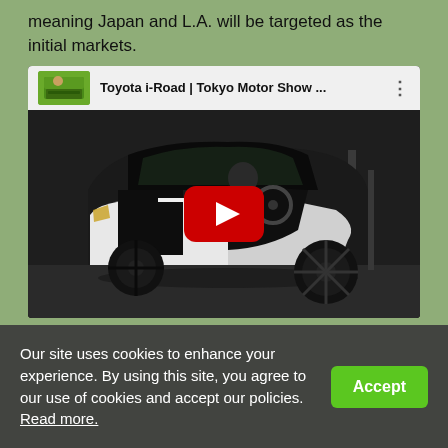meaning Japan and L.A. will be targeted as the initial markets.
[Figure (screenshot): YouTube video thumbnail showing Toyota i-Road at Tokyo Motor Show, with a person inside the small three-wheeled electric vehicle. A red YouTube play button is centered on the image.]
Our site uses cookies to enhance your experience. By using this site, you agree to our use of cookies and accept our policies. Read more.